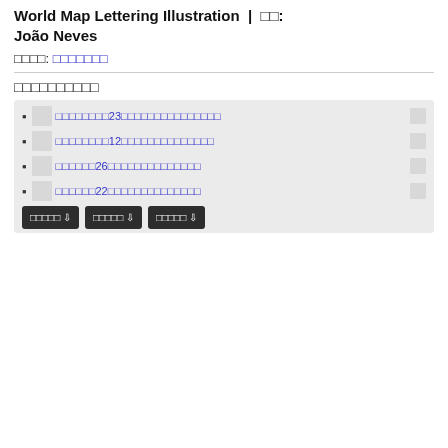World Map Lettering Illustration | □□: João Neves
□□□□: □□□□□□□
□□□□□□□□□□
□□□□□□□□23□□□□□□□□□□□□□□□□□
□□□□□□□□12□□□□□□□□□□□□□□□□
□□□□□□26□□□□□□□□□□□□□□□
□□□□□□22□□□□□□□□□□□□□□□
□□□□□ ⇩  □□□□□ ⇩  □□□□□ ⇩